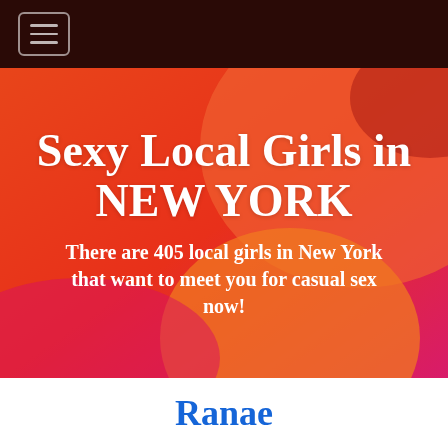[Figure (screenshot): Dark brown navigation bar with hamburger menu icon (three horizontal lines in a rounded rectangle)]
[Figure (illustration): Colorful hero banner with gradient background of orange, red, pink, and coral blobs/shapes. Contains bold white text headline and subheadline.]
Sexy Local Girls in NEW YORK
There are 405 local girls in New York that want to meet you for casual sex now!
Ranae